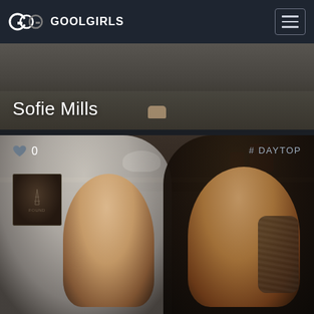GOOLGIRLS
Sofie Mills
[Figure (photo): Two women posed together in a kitchen setting. One has long silver-blonde hair, the other has long dark brown hair and a sleeve tattoo. Kitchen shelves with bowls and red items visible in background.]
♥ 0
# DAYTOP